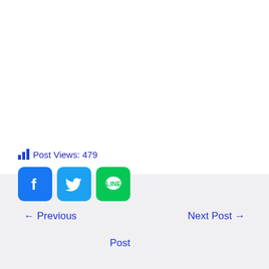Post Views: 479
[Figure (other): Social sharing buttons: Facebook (blue), Twitter (light blue), LINE (green)]
← Previous
Next Post →
Post